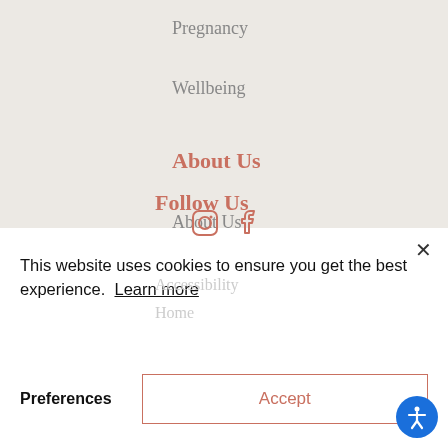Pregnancy
Wellbeing
About Us
About Us
Contact Us
Product Reviews
Terms and Conditions
Privacy Policy
Accessibility
Home
Follow Us
This website uses cookies to ensure you get the best experience.  Learn more
Preferences
Accept